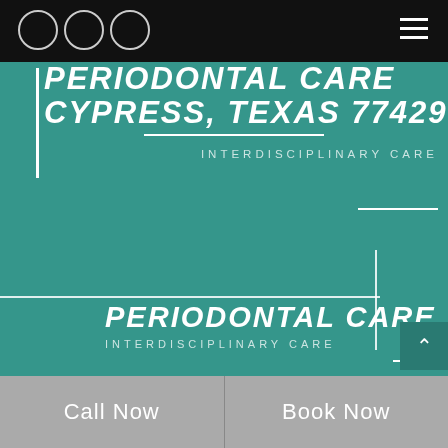[Figure (screenshot): Dental clinic website screenshot showing a teal-overlaid dental office interior with navigation bar, logo circles, and text overlays for Periodontal Care Cypress Texas 77429]
PERIODONTAL CARE CYPRESS, TEXAS 77429
INTERDISCIPLINARY CARE
PERIODONTAL CARE
INTERDISCIPLINARY CARE
Call Now
Book Now